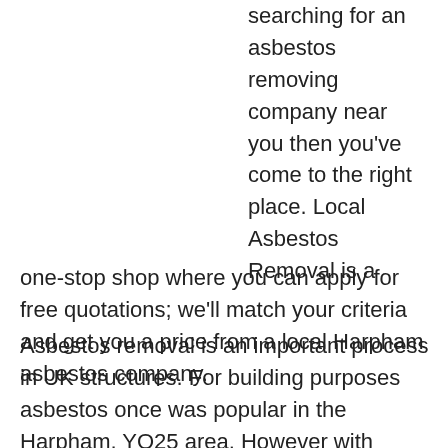searching for an asbestos removing company near you then you've come to the right place. Local Asbestos Removal is a one-stop shop where you can apply for free quotations; we'll match your criteria and get you a price from a local Harpham asbestos company.
Asbestos removal is an important process in UK structures. For building purposes asbestos once was popular in the Harpham, YO25 area. However with related health risks the Government imposed a ban on its use in 2006.